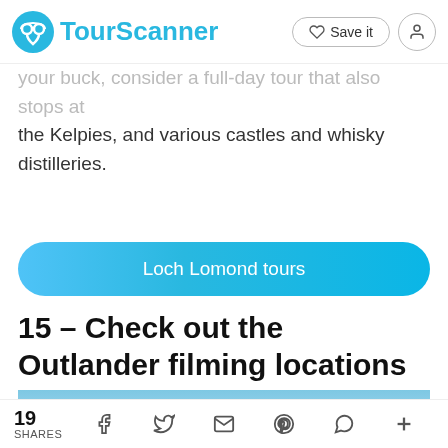TourScanner | Save it
your buck, consider a full-day tour that also stops at the Kelpies, and various castles and whisky distilleries.
[Figure (other): Blue gradient button with text 'Loch Lomond tours']
15 – Check out the Outlander filming locations
[Figure (photo): Partial view of a castle with blue sky and a flag on top]
19 SHARES | social share icons: Facebook, Twitter, Email, Pinterest, WhatsApp, More